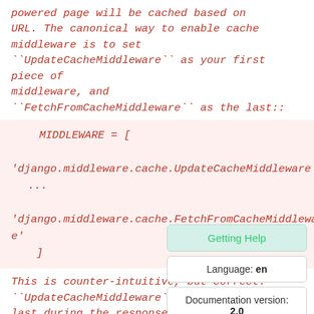powered page will be cached based on URL. The canonical way to enable cache middleware is to set ``UpdateCacheMiddleware`` as your first piece of middleware, and ``FetchFromCacheMiddleware`` as the last::
MIDDLEWARE = [

'django.middleware.cache.UpdateCacheMiddleware',
    ...

'django.middleware.cache.FetchFromCacheMiddleware'
    ]
This is counter-intuitive, but correct: ``UpdateCacheMiddleware`` needs to run last during the response phase, which processes middleware bottom-up; ``FetchFromCacheMiddleware`` needs to run last during the request phase, which
Getting Help
Language: en
Documentation version: 2.0